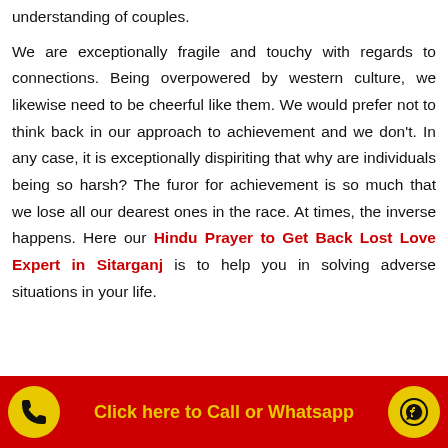understanding of couples.

We are exceptionally fragile and touchy with regards to connections. Being overpowered by western culture, we likewise need to be cheerful like them. We would prefer not to think back in our approach to achievement and we don't. In any case, it is exceptionally dispiriting that why are individuals being so harsh? The furor for achievement is so much that we lose all our dearest ones in the race. At times, the inverse happens. Here our Hindu Prayer to Get Back Lost Love Expert in Sitarganj is to help you in solving adverse situations in your life.
Click here to Call or Whatsapp